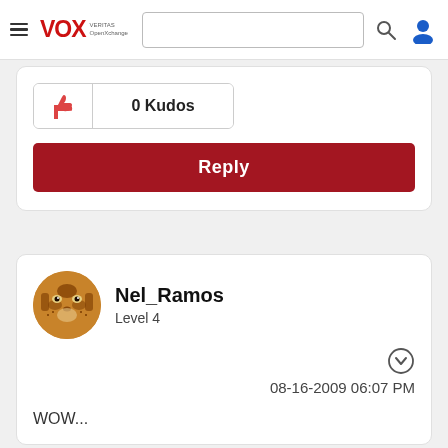VOX VERITAS OpenXchange — navigation bar with search
[Figure (other): Thumbs up icon for kudos]
0 Kudos
Reply
[Figure (photo): Avatar of tiger face for user Nel_Ramos]
Nel_Ramos
Level 4
08-16-2009 06:07 PM
WOW...